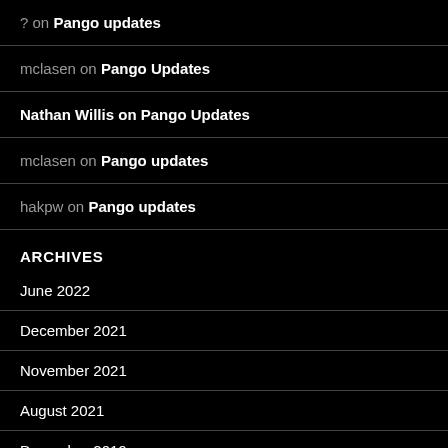? on Pango updates
mclasen on Pango Updates
Nathan Willis on Pango Updates
mclasen on Pango updates
hakpw on Pango updates
ARCHIVES
June 2022
December 2021
November 2021
August 2021
December 2019